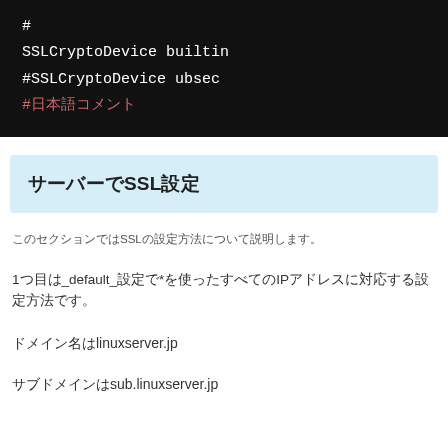[Figure (screenshot): Black terminal/code block showing SSL configuration lines: '#', 'SSLCryptoDevice builtin', '#SSLCryptoDevice ubsec', '#日本語コメント' in monospace white and pink text on black background.]
サーバーでSSL設定
このセクションではSSLの設定方法について説明します。
1つ目は_default_設定で*を使ったすべてのIPアドレスに対応する設定方法です。
ドメイン名はlinuxserver.jp
サブドメインはsub.linuxserver.jp